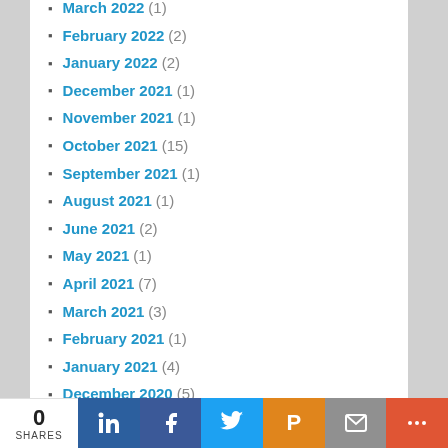March 2022 (1)
February 2022 (2)
January 2022 (2)
December 2021 (1)
November 2021 (1)
October 2021 (15)
September 2021 (1)
August 2021 (1)
June 2021 (2)
May 2021 (1)
April 2021 (7)
March 2021 (3)
February 2021 (1)
January 2021 (4)
December 2020 (5)
November 2020 (3)
October 2020 (4)
September 2020 (6)
August 2020 (12)
July 2020 (3)